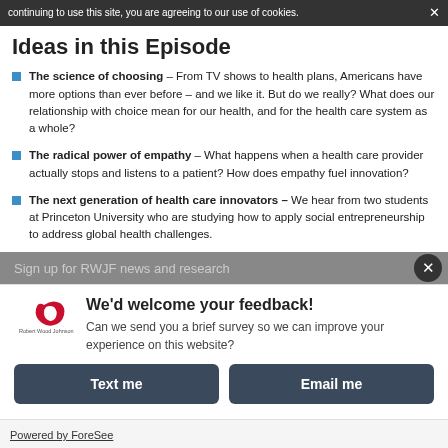continuing to use this site, you are agreeing to our use of cookies.
Ideas in this Episode
The science of choosing – From TV shows to health plans, Americans have more options than ever before – and we like it. But do we really? What does our relationship with choice mean for our health, and for the health care system as a whole?
The radical power of empathy – What happens when a health care provider actually stops and listens to a patient? How does empathy fuel innovation?
The next generation of health care innovators – We hear from two students at Princeton University who are studying how to apply social entrepreneurship to address global health challenges.
Sign up for RWJF news and research
We'd welcome your feedback! Can we send you a brief survey so we can improve your experience on this website?
Text me
Email me
Powered by ForeSee